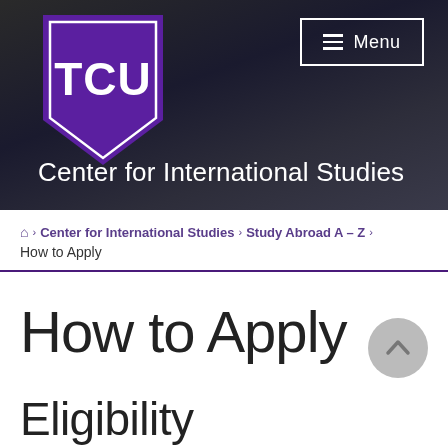[Figure (logo): TCU logo shield in purple with white TCU text, followed by Center for International Studies university header with dark gradient background and Menu button]
⌂ › Center for International Studies › Study Abroad A – Z › How to Apply
How to Apply
Eligibility